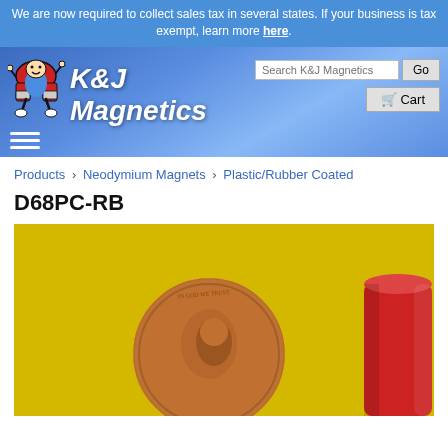We are now required to collect sales tax in several states. If your business is tax exempt, learn more here.
[Figure (screenshot): K&J Magnetics website header with logo (cartoon magnet mascot), site title 'K&J Magnetics', search box with 'Search K&J Magnetics' placeholder and Go button, Cart button, and hamburger menu icon]
Products › Neodymium Magnets › Plastic/Rubber Coated
D68PC-RB
[Figure (photo): Product photo showing a red rubber-coated cylindrical magnet (D68PC-RB) next to a US penny for size comparison, on a yellow background]